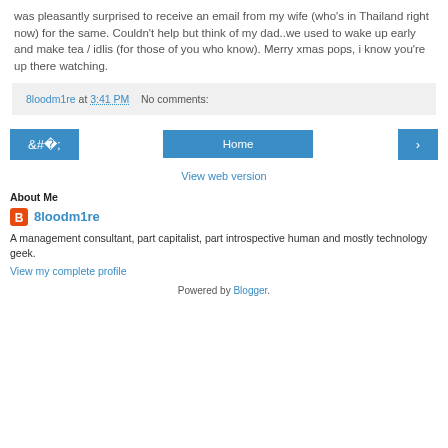was pleasantly surprised to receive an email from my wife (who's in Thailand right now) for the same. Couldn't help but think of my dad..we used to wake up early and make tea / idlis (for those of you who know). Merry xmas pops, i know you're up there watching.
8loodm1re at 3:41 PM   No comments:
< Home >
View web version
About Me
8loodm1re
A management consultant, part capitalist, part introspective human and mostly technology geek.
View my complete profile
Powered by Blogger.